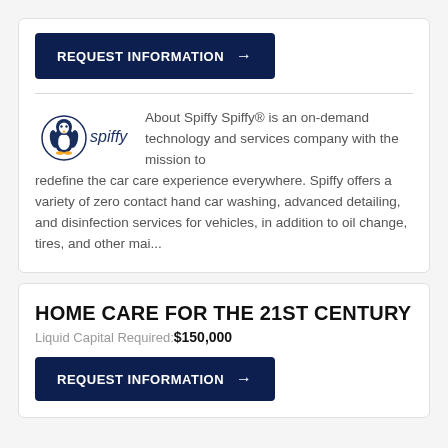REQUEST INFORMATION →
[Figure (logo): Spiffy logo: circular penguin icon with 'spiffy' text]
About Spiffy Spiffy® is an on-demand technology and services company with the mission to redefine the car care experience everywhere. Spiffy offers a variety of zero contact hand car washing, advanced detailing, and disinfection services for vehicles, in addition to oil change, tires, and other mai...
HOME CARE FOR THE 21ST CENTURY
Liquid Capital Required: $150,000
REQUEST INFORMATION